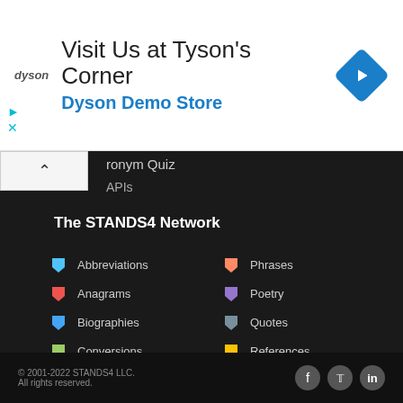[Figure (other): Dyson advertisement banner: 'Visit Us at Tyson's Corner / Dyson Demo Store' with Dyson logo and blue diamond navigation icon]
Acronym Quiz
APIs
The STANDS4 Network
Abbreviations
Phrases
Anagrams
Poetry
Biographies
Quotes
Conversions
References
Calculators
Rhymes
Definitions
Scripts
Grammar
Symbols
Literature
Synonyms
Lyrics
Zip Codes
© 2001-2022 STANDS4 LLC.
All rights reserved.